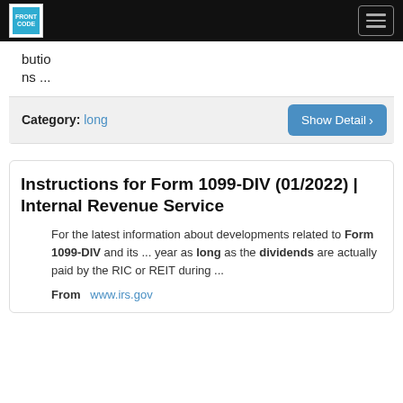FRONT CODE [logo] — navigation bar with hamburger menu
butions ...
Category: long
Show Detail >
Instructions for Form 1099-DIV (01/2022) | Internal Revenue Service
For the latest information about developments related to Form 1099-DIV and its ... year as long as the dividends are actually paid by the RIC or REIT during ...
From   www.irs.gov